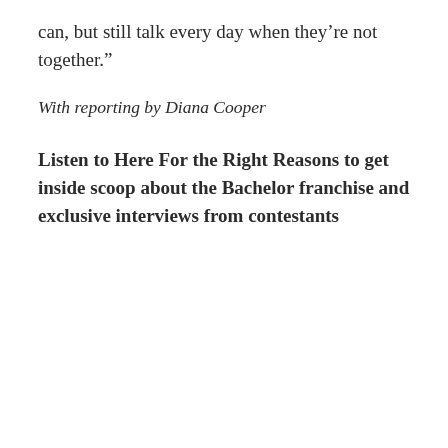can, but still talk every day when they’re not together.”
With reporting by Diana Cooper
Listen to Here For the Right Reasons to get inside scoop about the Bachelor franchise and exclusive interviews from contestants